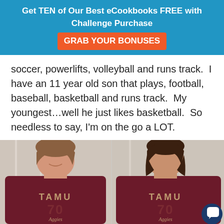Get TEN of Our Best eCookbooks FREE with Challenge Purchase  GRAB YOUR BONUSES
soccer, powerlifts, volleyball and runs track.  I have an 11 year old son that plays, football, baseball, basketball and runs track.  My youngest...well he just likes basketball.  So needless to say, I'm on the go a LOT.
[Figure (photo): Two side-by-side photos of the same woman wearing a maroon TAMU Aggies t-shirt — left photo smiling, right photo with neutral expression. Both taken indoors against a white curtain/door background.]